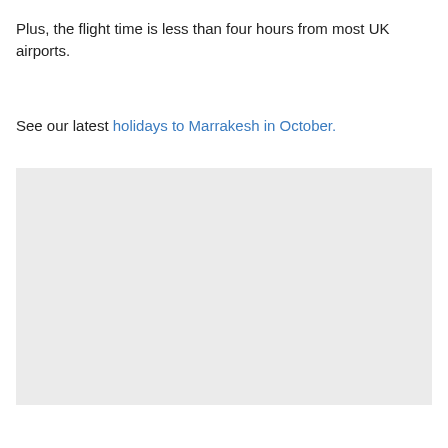Plus, the flight time is less than four hours from most UK airports.
See our latest holidays to Marrakesh in October.
[Figure (photo): A light grey rectangular placeholder image block]